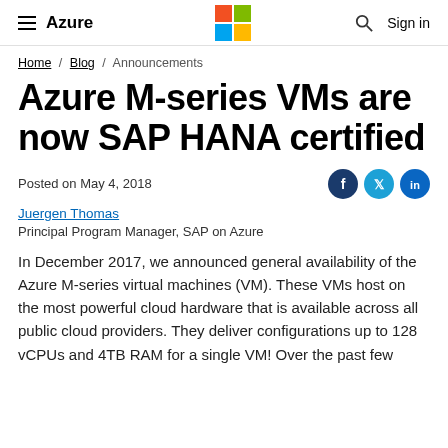Azure — Microsoft logo — Sign in
Home / Blog / Announcements
Azure M-series VMs are now SAP HANA certified
Posted on May 4, 2018
Juergen Thomas
Principal Program Manager, SAP on Azure
In December 2017, we announced general availability of the Azure M-series virtual machines (VM). These VMs host on the most powerful cloud hardware that is available across all public cloud providers. They deliver configurations up to 128 vCPUs and 4TB RAM for a single VM! Over the past few